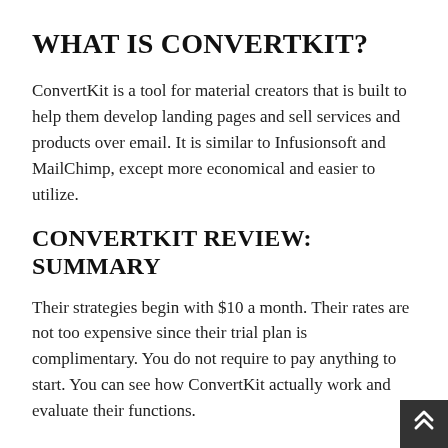WHAT IS CONVERTKIT?
ConvertKit is a tool for material creators that is built to help them develop landing pages and sell services and products over email. It is similar to Infusionsoft and MailChimp, except more economical and easier to utilize.
CONVERTKIT REVIEW: SUMMARY
Their strategies begin with $10 a month. Their rates are not too expensive since their trial plan is complimentary. You do not require to pay anything to start. You can see how ConvertKit actually work and evaluate their functions.
I have actually never ever had a landing page that was so easy to use. It's a fantastic piece of software application. You can produce landing pages from